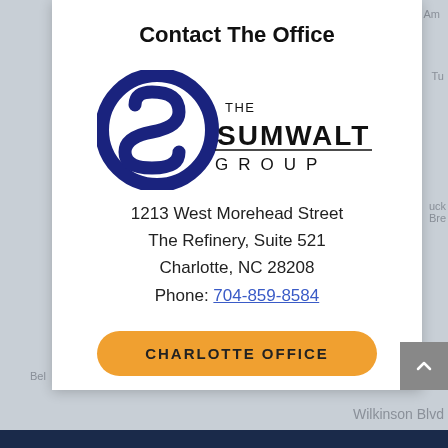Contact The Office
[Figure (logo): The Sumwalt Group logo with a dark navy stylized S and company name text]
1213 West Morehead Street
The Refinery, Suite 521
Charlotte, NC 28208
Phone: 704-859-8584
CHARLOTTE OFFICE